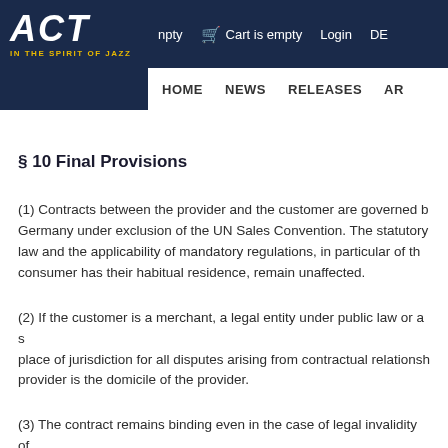ACT IN THE SPIRIT OF JAZZ | npty | Cart is empty | Login | DE | HOME | NEWS | RELEASES | AR
§ 10 Final Provisions
(1) Contracts between the provider and the customer are governed by the law of Germany under exclusion of the UN Sales Convention. The statutory provisions on the choice of law and the applicability of mandatory regulations, in particular of the country in which the consumer has their habitual residence, remain unaffected.
(2) If the customer is a merchant, a legal entity under public law or a special fund under public law, the place of jurisdiction for all disputes arising from contractual relationships between the customer and the provider is the domicile of the provider.
(3) The contract remains binding even in the case of legal invalidity of